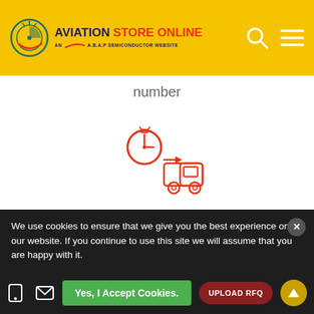AVIATION STORE ONLINE — AN A.B.A.P SEMICONDUCTOR WEBSITE
number
[Figure (illustration): Red outline icon of a delivery truck with a stopwatch/clock above it, indicating fast shipping]
All inventory ready to ship from our sellers
[Figure (illustration): Red outline icon of a badge/seal with a thumbs-up inside, indicating quality guarantee]
We use cookies to ensure that we give you the best experience on our website. If you continue to use this site we will assume that you are happy with it.
Yes, I Accept Cookies.
UPLOAD RFQ